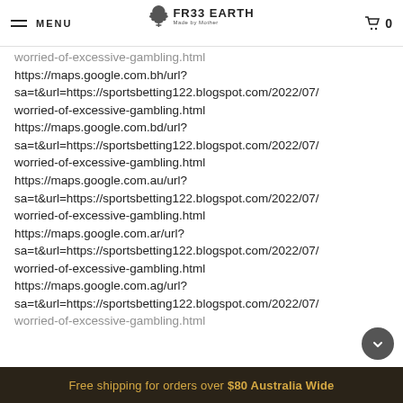MENU | FR33 EARTH | 0
worried-of-excessive-gambling.html
https://maps.google.com.bh/url?
sa=t&url=https://sportsbetting122.blogspot.com/2022/07/
worried-of-excessive-gambling.html
https://maps.google.com.bd/url?
sa=t&url=https://sportsbetting122.blogspot.com/2022/07/
worried-of-excessive-gambling.html
https://maps.google.com.au/url?
sa=t&url=https://sportsbetting122.blogspot.com/2022/07/
worried-of-excessive-gambling.html
https://maps.google.com.ar/url?
sa=t&url=https://sportsbetting122.blogspot.com/2022/07/
worried-of-excessive-gambling.html
https://maps.google.com.ag/url?
sa=t&url=https://sportsbetting122.blogspot.com/2022/07/
worried-of-excessive-gambling.html
Free shipping for orders over $80 Australia Wide